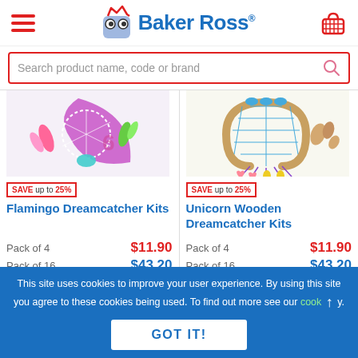[Figure (logo): Baker Ross logo with hamburger menu icon and basket icon in header]
Search product name, code or brand
[Figure (photo): Flamingo Dreamcatcher Kit product image showing colorful pink and green dreamcatcher]
SAVE up to 25%
Flamingo Dreamcatcher Kits
Pack of 4   $11.90
Pack of 16  $43.20
[Figure (photo): Unicorn Wooden Dreamcatcher Kit product image showing blue and wooden dreamcatcher with hearts]
SAVE up to 25%
Unicorn Wooden Dreamcatcher Kits
Pack of 4   $11.90
Pack of 16  $43.20
This site uses cookies to improve your user experience. By using this site you agree to these cookies being used. To find out more see our cookie policy.
GOT IT!